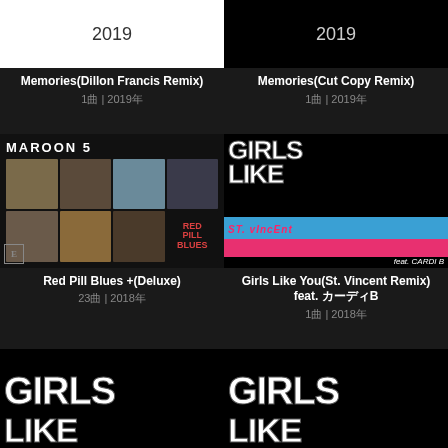[Figure (photo): Album art for Memories (Dillon Francis Remix) - white background with 2019 text]
Memories(Dillon Francis Remix)
1曲 | 2019年
[Figure (photo): Album art for Memories (Cut Copy Remix) - black background with 2019 text]
Memories(Cut Copy Remix)
1曲 | 2019年
[Figure (photo): Maroon 5 Red Pill Blues album cover with band photos in grid]
Red Pill Blues +(Deluxe)
23曲 | 2018年
[Figure (photo): Girls Like You featuring St. Vincent and Cardi B remix album art - black background with large white text]
Girls Like You(St. Vincent Remix) feat. カーディB
1曲 | 2018年
[Figure (photo): Girls Like You album art bottom left - black background with large white GIRLS text]
[Figure (photo): Girls Like You album art bottom right - black background with large white GIRLS text]